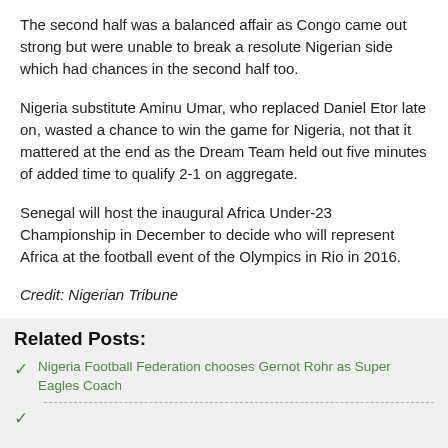The second half was a balanced affair as Congo came out strong but were unable to break a resolute Nigerian side which had chances in the second half too.
Nigeria substitute Aminu Umar, who replaced Daniel Etor late on, wasted a chance to win the game for Nigeria, not that it mattered at the end as the Dream Team held out five minutes of added time to qualify 2-1 on aggregate.
Senegal will host the inaugural Africa Under-23 Championship in December to decide who will represent Africa at the football event of the Olympics in Rio in 2016.
Credit: Nigerian Tribune
Related Posts:
Nigeria Football Federation chooses Gernot Rohr as Super Eagles Coach